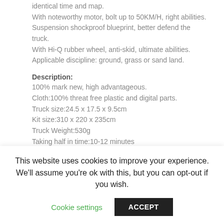identical time and map.
With noteworthy motor, bolt up to 50KM/H, right abilities.
Suspension shockproof blueprint, better defend the truck.
With Hi-Q rubber wheel, anti-skid, ultimate abilities.
Applicable discipline: ground, grass or sand land.
Description:
100% mark new, high advantageous.
Cloth:100% threat free plastic and digital parts.
Truck size:24.5 x 17.5 x 9.5cm
Kit size:310 x 220 x 235cm
Truck Weight:530g
Taking half in time:10-12 minutes
Charging time:100-a hundred and fifty minutes
Withhold an eye on fluctuate:Extra than 100M
Battery for truck:7.4V/1100mAh Li-ion battery
Packing List:
This website uses cookies to improve your experience. We'll assume you're ok with this, but you can opt-out if you wish.
Cookie settings  ACCEPT